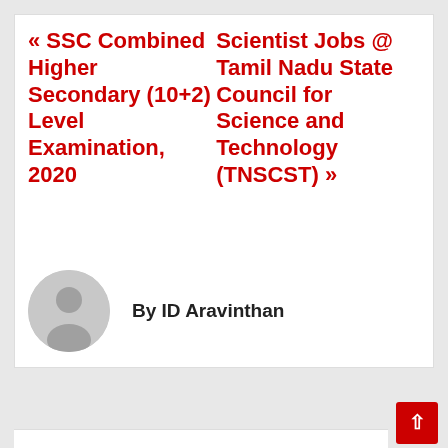« SSC Combined Higher Secondary (10+2) Level Examination, 2020
Scientist Jobs @ Tamil Nadu State Council for Science and Technology (TNSCST) »
[Figure (illustration): Gray circular avatar placeholder showing a generic user silhouette icon]
By ID Aravinthan